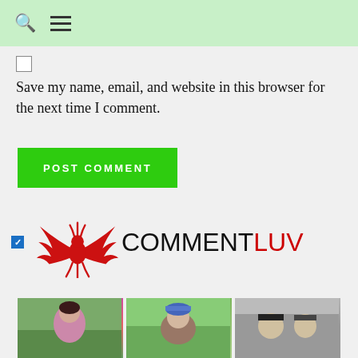Search and Menu icons on green header bar
Save my name, email, and website in this browser for the next time I comment.
[Figure (screenshot): Green POST COMMENT button]
[Figure (logo): CommentLuv logo with red phoenix bird and COMMENTLUV text (LUV in red)]
[Figure (photo): Three photo thumbnails at the bottom of the page showing people]